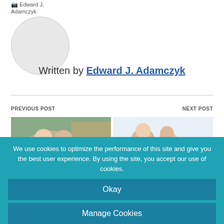[Figure (photo): Circular avatar placeholder for Edward J. Adamczyk]
Written by Edward J. Adamczyk
PREVIOUS POST
NEXT POST
[Figure (photo): Smiling couple outdoors in front of a house]
[Figure (photo): Couple sitting together looking at a tablet device]
We use cookies to optimize the performance of this site and give you the best user experience. By using the site, you accept our use of cookies.
Okay
Manage Cookies